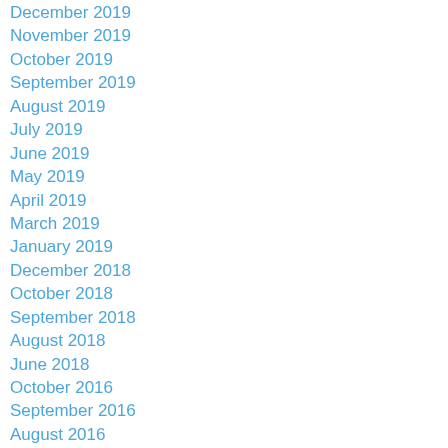December 2019
November 2019
October 2019
September 2019
August 2019
July 2019
June 2019
May 2019
April 2019
March 2019
January 2019
December 2018
October 2018
September 2018
August 2018
June 2018
October 2016
September 2016
August 2016
July 2016